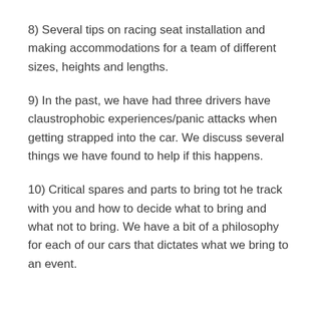8)  Several tips on racing seat installation and making accommodations for a team of different sizes, heights and lengths.
9)  In the past, we have had three drivers have claustrophobic experiences/panic attacks when getting strapped into the car.  We discuss several things we have found to help if this happens.
10)  Critical spares and parts to bring tot he track with you and how to decide what to bring and what not to bring.  We have a bit of a philosophy for each of our cars that dictates what we bring to an event.